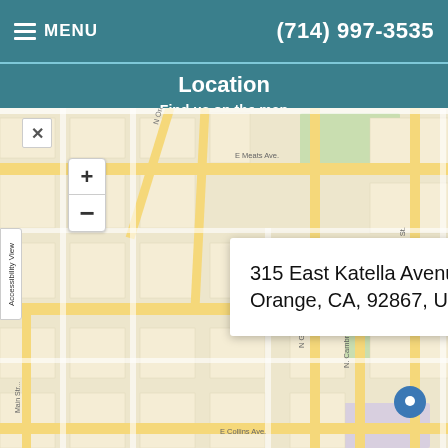MENU  (714) 997-3535
Location
Find us on the map
[Figure (map): Street map showing Orange, CA area with a location pin marker at 315 East Katella Avenue, Orange, CA. Map shows streets including N Orange, N Glassell, E Meats Ave, E Collins Ave, N Tustin St, N Cambridge St, Main Street.]
315 East Katella Avenue, Orange, CA, 92867, US